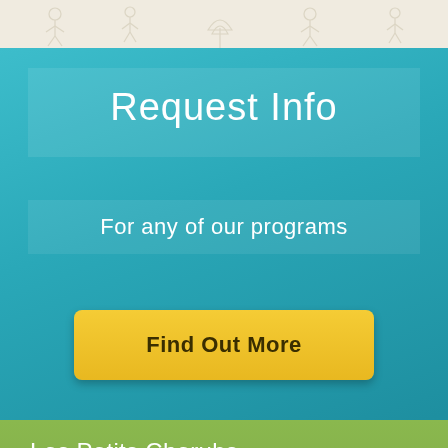[Figure (illustration): Decorative top banner with light beige background and faint chalk-style drawings of children and figures]
Request Info
For any of our programs
Find Out More
Les Petits Cherubs
Administrative Office
7901 Ridge Avenue